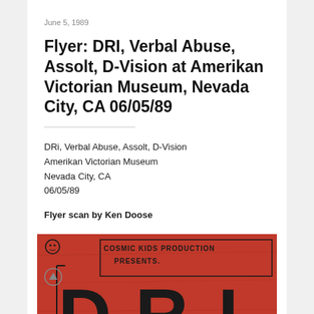June 5, 1989
Flyer: DRI, Verbal Abuse, Assolt, D-Vision at Amerikan Victorian Museum, Nevada City, CA 06/05/89
DRi, Verbal Abuse, Assolt, D-Vision
Amerikan Victorian Museum
Nevada City, CA
06/05/89
Flyer scan by Ken Doose
[Figure (photo): Scanned concert flyer on red background with handwritten text 'Cosmic Kids Production Presents' and large block letters D.R.I.]